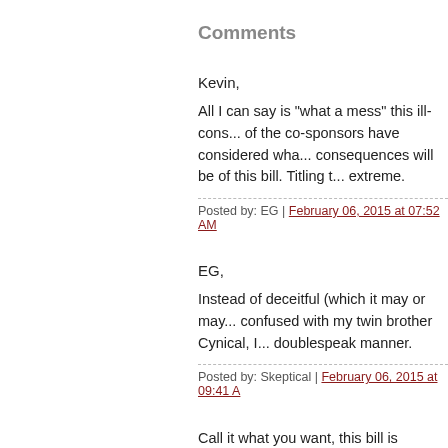Comments
Kevin,
All I can say is "what a mess" this ill-cons... of the co-sponsors have considered wha... consequences will be of this bill. Titling t... extreme.
Posted by: EG | February 06, 2015 at 07:52 AM
EG,
Instead of deceitful (which it may or may... confused with my twin brother Cynical, I... doublespeak manner.
Posted by: Skeptical | February 06, 2015 at 09:41 A...
Call it what you want, this bill is double-p...
Posted by: Big Brother | February 07, 2015 at 11:06...